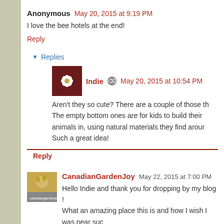Anonymous May 20, 2015 at 9:19 PM
I love the bee hotels at the end!
Reply
Replies
Indie May 20, 2015 at 10:54 PM
Aren't they so cute? There are a couple of those th The empty bottom ones are for kids to build their animals in, using natural materials they find arour Such a great idea!
Reply
CanadianGardenJoy May 22, 2015 at 7:00 PM
Hello Indie and thank you for dropping by my blog ! What an amazing place this is and how I wish I was near suc driven "garden" .. and to be able to buy plants there on top of I have been trying to grow trillium (standard white single flo